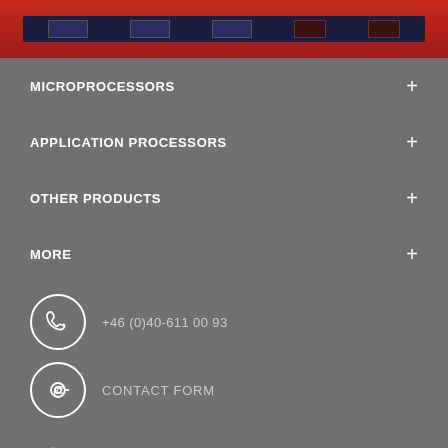[Figure (photo): Red PCB circuit board with connectors, shown at the top of the page]
MICROPROCESSORS +
APPLICATION PROCESSORS +
OTHER PRODUCTS +
MORE +
+46 (0)40-611 00 93
CONTACT FORM
Embedded Artists